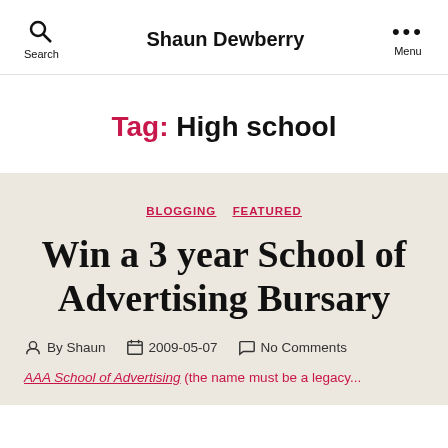Shaun Dewberry
Tag: High school
BLOGGING  FEATURED
Win a 3 year School of Advertising Bursary
By Shaun  2009-05-07  No Comments
AAA School of Advertising (the name must be a legacy...